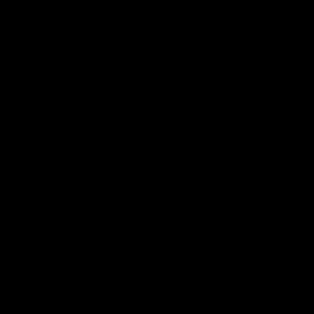NEW ZEALAND
Haunted Locations
Virtual 3D Tours
Abandoned Buildings
Cemeteries
Kiwi Cryptids
Locations of Interest
True Ghost Stories
UFO Sightings
Urban Legends
EVP Recordings
Haunted Objects
INVESTIGATIONS
[Figure (logo): Google reCAPTCHA badge with blue circular arrow icon and 'Privacy - Terms' text]